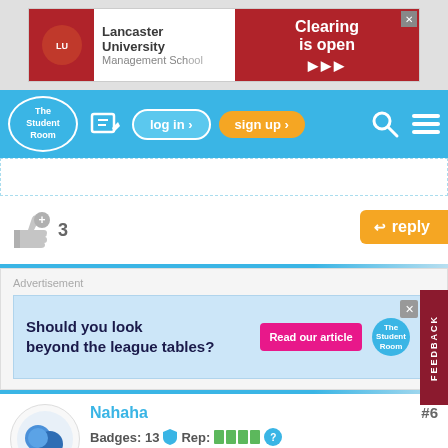[Figure (screenshot): Lancaster University Management School advertisement banner with red background and 'Clearing is open' text]
[Figure (screenshot): The Student Room navigation bar with logo, edit icon, log in, sign up, search, and menu icons in blue]
[Figure (screenshot): Like button with +3 and orange reply button]
Advertisement
[Figure (screenshot): Advertisement: 'Should you look beyond the league tables? Read our article' with The Student Room logo]
Nahaha
Badges: 13  Rep:
#6
Report
3 years ago